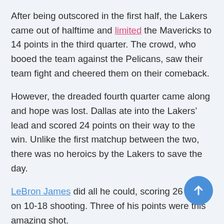After being outscored in the first half, the Lakers came out of halftime and limited the Mavericks to 14 points in the third quarter. The crowd, who booed the team against the Pelicans, saw their team fight and cheered them on their comeback.
However, the dreaded fourth quarter came along and hope was lost. Dallas ate into the Lakers' lead and scored 24 points on their way to the win. Unlike the first matchup between the two, there was no heroics by the Lakers to save the day.
LeBron James did all he could, scoring 26 points on 10-18 shooting. Three of his points were this amazing shot.